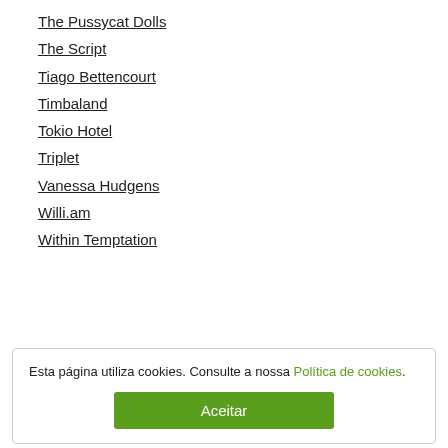The Pussycat Dolls
The Script
Tiago Bettencourt
Timbaland
Tokio Hotel
Triplet
Vanessa Hudgens
Willi.am
Within Temptation
Esta página utiliza cookies. Consulte a nossa Política de cookies.